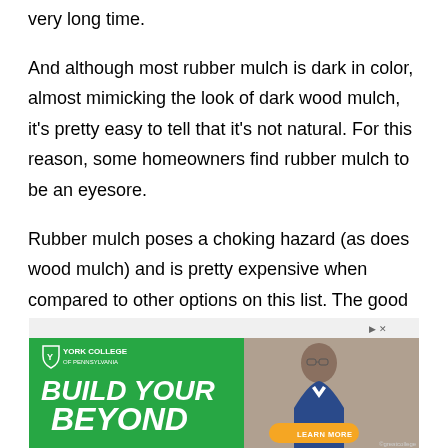very long time.
And although most rubber mulch is dark in color, almost mimicking the look of dark wood mulch, it's pretty easy to tell that it's not natural. For this reason, some homeowners find rubber mulch to be an eyesore.
Rubber mulch poses a choking hazard (as does wood mulch) and is pretty expensive when compared to other options on this list. The good news is that rubber mulch won't mold and is resistant to rot, meaning you don't have to replace it as often as you would wood mulch.
[Figure (other): Advertisement for York College of Pennsylvania with green background, 'BUILD YOUR BEYOND' headline in white italic text, a photo of a young man with glasses, and an orange 'LEARN MORE' button.]